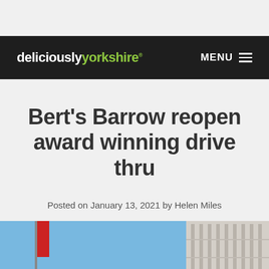deliciouslyorkshire® MENU
Bert's Barrow reopen award winning drive thru
Posted on January 13, 2021 by Helen Miles
[Figure (photo): Photo of a building exterior with blue sky, partially visible at bottom of page]